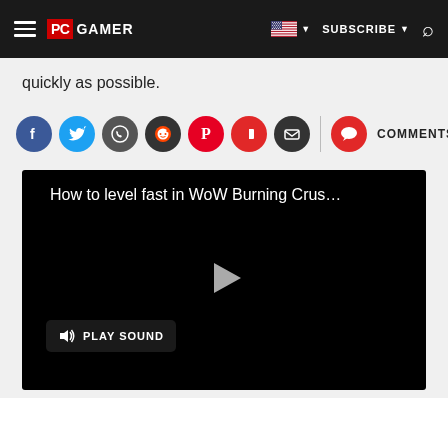PC GAMER | SUBSCRIBE
quickly as possible.
[Figure (infographic): Social sharing icons row: Facebook, Twitter, WhatsApp, Reddit, Pinterest, Flipboard, Email, divider, Comments button]
[Figure (screenshot): Embedded video player with title 'How to level fast in WoW Burning Crus…', play button, and PLAY SOUND button on black background]